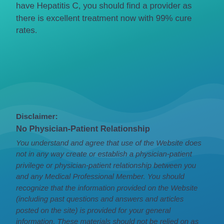have Hepatitis C, you should find a provider as there is excellent treatment now with 99% cure rates.
Disclaimer:
No Physician-Patient Relationship
You understand and agree that use of the Website does not in any way create or establish a physician-patient privilege or physician-patient relationship between you and any Medical Professional Member. You should recognize that the information provided on the Website (including past questions and answers and articles posted on the site) is provided for your general information. These materials should not be relied on as medical advice and reading and reviewing them is not a